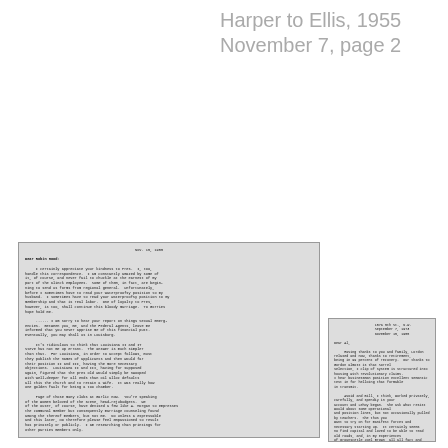Harper to Ellis, 1955
November 7, page 2
[Figure (photo): Scanned photocopy of a typed letter (left), dated Nov. 15, 1955, addressed 'Dear Robin Hood', discussing correspondence and organizational matters.]
[Figure (photo): Scanned photocopy of a second typed letter (right), partial view, with address block and body text, dated November 1955.]